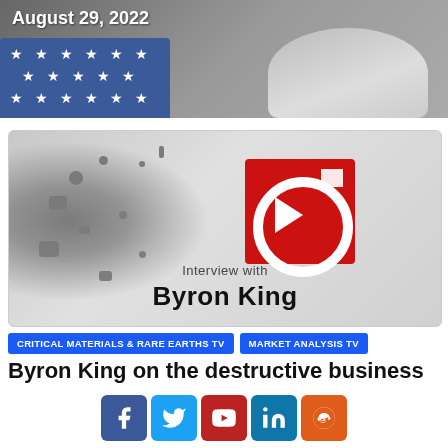[Figure (photo): Top image with date August 29, 2022 overlaid, showing US flag and pillow in grayscale]
[Figure (photo): Interview thumbnail with debris exploding, red logo with play button, text 'Interview with Byron King']
CRITICAL MATERIALS & RARE EARTHS TV
MARKET ANALYSIS TV
Byron King on the destructive business